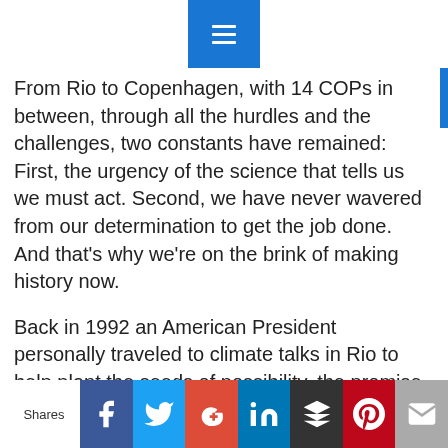From Rio to Copenhagen, with 14 COPs in between, through all the hurdles and the challenges, two constants have remained: First, the urgency of the science that tells us we must act. Second, we have never wavered from our determination to get the job done. And that's why we're on the brink of making history now.
Back in 1992 an American President personally traveled to climate talks in Rio to help plant the seeds of possibility, the promise of a beginning; But that promise was allowed to wither on the vine. In the years that followed the United States joined with other major polluters to delay, divide and deny. We simply failed to lead in the manner this challenge demands.
Shares [Facebook] [Twitter] [Google+] [LinkedIn] [Buffer] [Pinterest] [Email]